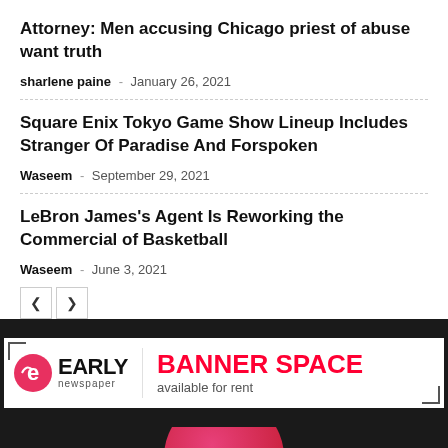Attorney: Men accusing Chicago priest of abuse want truth
sharlene paine - January 26, 2021
Square Enix Tokyo Game Show Lineup Includes Stranger Of Paradise And Forspoken
Waseem - September 29, 2021
LeBron James’s Agent Is Reworking the Commercial of Basketball
Waseem - June 3, 2021
[Figure (logo): Early Newspaper logo with banner space advertisement]
[Figure (illustration): Dark background with red/pink circular shape at bottom]